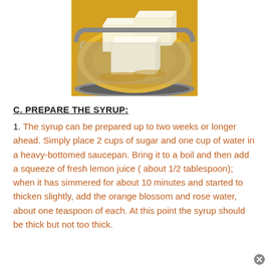[Figure (photo): Butter blocks melting in a dark saucepan filled with golden liquid, viewed from above]
C. PREPARE THE SYRUP:
1. The syrup can be prepared up to two weeks or longer ahead. Simply place 2 cups of sugar and one cup of water in a heavy-bottomed saucepan. Bring it to a boil and then add a squeeze of fresh lemon juice ( about 1/2 tablespoon); when it has simmered for about 10 minutes and started to thicken slightly, add the orange blossom and rose water, about one teaspoon of each. At this point the syrup should be thick but not too thick.